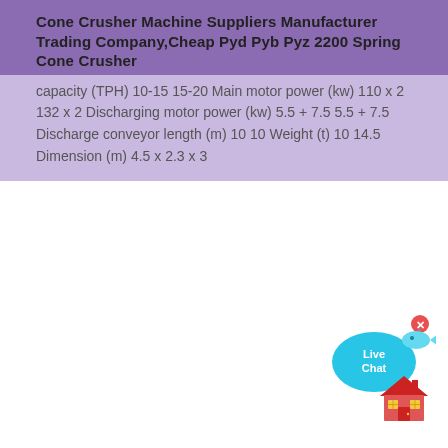Cone Crusher Machine Suppliers Manufacturer Trading Company,Cheap Pyd Pyb Pyz 2200 Spring Cone Crusher
capacity (TPH) 10-15 15-20 Main motor power (kw) 110 x 2 132 x 2 Discharging motor power (kw) 5.5 + 7.5 5.5 + 7.5 Discharge conveyor length (m) 10 10 Weight (t) 10 14.5 Dimension (m) 4.5 x 2.3 x 3
[Figure (illustration): Live Chat button overlay with blue speech bubble and fish icon, with close X button]
[Figure (illustration): Red house/home icon in bottom right corner]